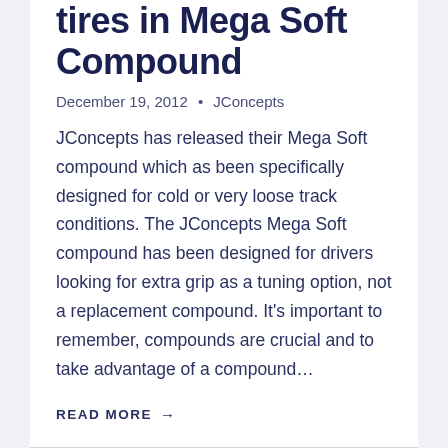tires in Mega Soft Compound
December 19, 2012 • JConcepts
JConcepts has released their Mega Soft compound which as been specifically designed for cold or very loose track conditions. The JConcepts Mega Soft compound has been designed for drivers looking for extra grip as a tuning option, not a replacement compound. It's important to remember, compounds are crucial and to take advantage of a compound…
READ MORE →